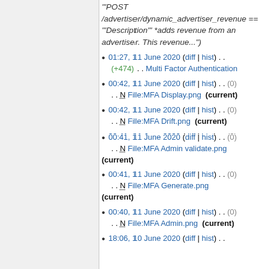'"POST /advertiser/dynamic_advertiser_revenue == '"Description"' *adds revenue from an advertiser. This revenue...")
01:27, 11 June 2020 (diff | hist) . . (+474) . . Multi Factor Authentication
00:42, 11 June 2020 (diff | hist) . . (0) . . N File:MFA Display.png (current)
00:42, 11 June 2020 (diff | hist) . . (0) . . N File:MFA Drift.png (current)
00:41, 11 June 2020 (diff | hist) . . (0) . . N File:MFA Admin validate.png (current)
00:41, 11 June 2020 (diff | hist) . . (0) . . N File:MFA Generate.png (current)
00:40, 11 June 2020 (diff | hist) . . (0) . . N File:MFA Admin.png (current)
18:06, 10 June 2020 (diff | hist) . .